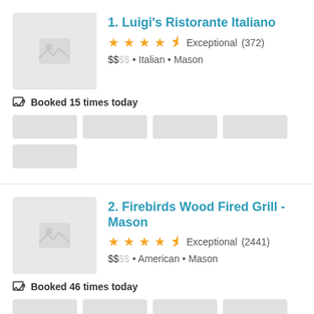1. Luigi's Ristorante Italiano
★★★★½ Exceptional (372)
$$•• • Italian • Mason
Booked 15 times today
[Figure (screenshot): Row of time-slot placeholder buttons (greyed out)]
2. Firebirds Wood Fired Grill - Mason
★★★★½ Exceptional (2441)
$$•• • American • Mason
Booked 46 times today
[Figure (screenshot): Row of time-slot placeholder buttons (greyed out)]